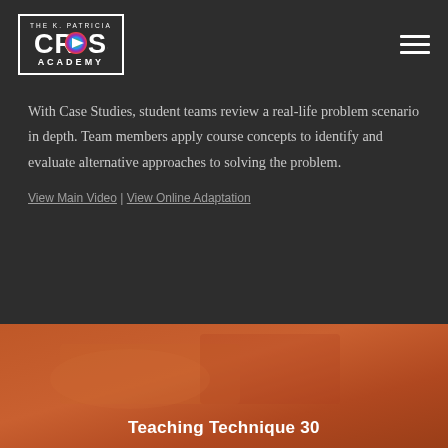[Figure (logo): The K. Patricia Cross Academy logo: white text in a rectangular border with 'THE K. PATRICIA' at top, 'CROSS' in large letters with a colorful play button icon replacing the O, and 'ACADEMY' at bottom.]
With Case Studies, student teams review a real-life problem scenario in depth. Team members apply course concepts to identify and evaluate alternative approaches to solving the problem.
View Main Video | View Online Adaptation
[Figure (photo): An orange-tinted photo of hands writing or working, with the text 'Teaching Technique 30' overlaid at the bottom.]
Teaching Technique 30